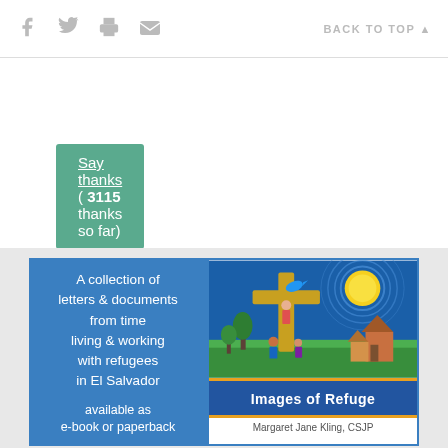f  [twitter]  [print]  [email]   BACK TO TOP ▲
Say thanks ( 3115 thanks so far)
[Figure (illustration): Book advertisement for 'Images of Refuge' by Margaret Jane Kling, CSJP. Left side: blue panel with text describing a collection of letters & documents from time living & working with refugees in El Salvador, available as e-book or paperback, www.csjp.org/kenmarepress. Right side: book cover showing a colorful folk-art painting with a cross, sun, birds, houses, and people.]
Margaret Jane Kling, CSJP